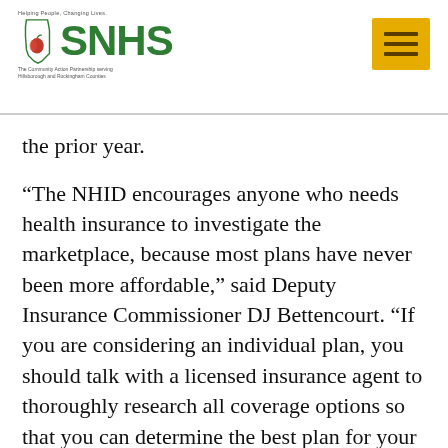SNHS – Helping People, Changing Lives. The Community Action Partnership serving Hillsborough and Rockingham Counties.
the prior year.
“The NHID encourages anyone who needs health insurance to investigate the marketplace, because most plans have never been more affordable,” said Deputy Insurance Commissioner DJ Bettencourt. “If you are considering an individual plan, you should talk with a licensed insurance agent to thoroughly research all coverage options so that you can determine the best plan for your needs.